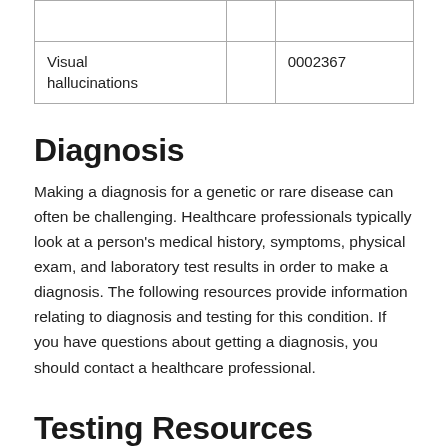|  |  |  |
| Visual hallucinations |  | 0002367 |
Diagnosis
Making a diagnosis for a genetic or rare disease can often be challenging. Healthcare professionals typically look at a person's medical history, symptoms, physical exam, and laboratory test results in order to make a diagnosis. The following resources provide information relating to diagnosis and testing for this condition. If you have questions about getting a diagnosis, you should contact a healthcare professional.
Testing Resources